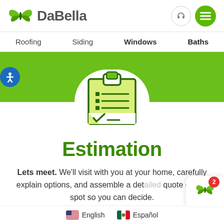[Figure (logo): DaBella company logo with green butterfly icon and gray DaBella text]
Roofing   Siding   Windows   Baths
[Figure (illustration): Green banner with white arch and clipboard checklist icon]
Estimation
Lets meet. We'll visit with you at your home, carefully explain options, and assemble a detailed quote on the spot so you can decide.
English   Español